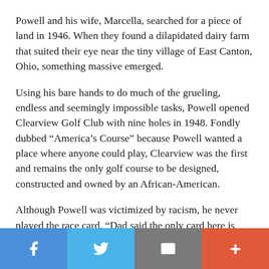Powell and his wife, Marcella, searched for a piece of land in 1946. When they found a dilapidated dairy farm that suited their eye near the tiny village of East Canton, Ohio, something massive emerged.
Using his bare hands to do much of the grueling, endless and seemingly impossible tasks, Powell opened Clearview Golf Club with nine holes in 1948. Fondly dubbed “America’s Course” because Powell wanted a place where anyone could play, Clearview was the first and remains the only golf course to be designed, constructed and owned by an African-American.
Although Powell was victimized by racism, he never played the race card. “Dad said the only card here is